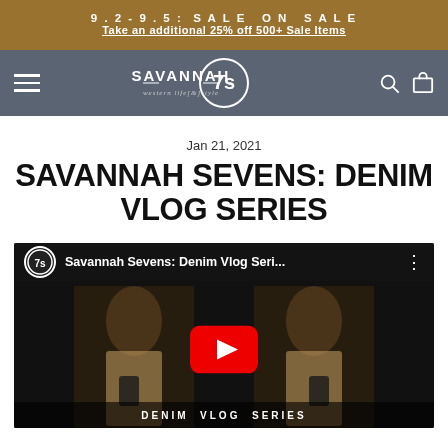9.2-9.5: SALE ON SALE
Take an additional 25% off 500+ Sale Items
[Figure (logo): Savannah 7s western life & style logo in circular design on dark teal/slate navigation bar with hamburger menu on left and search/cart icons on right]
Jan 21, 2021
SAVANNAH SEVENS: DENIM VLOG SERIES
[Figure (screenshot): YouTube video embed thumbnail showing 'Savannah Sevens: Denim Vlog Seri...' with Savannah 7s channel icon, a woman in leopard print top mirrored, red YouTube play button in center, and 'DENIM VLOG SERIES' text at bottom]